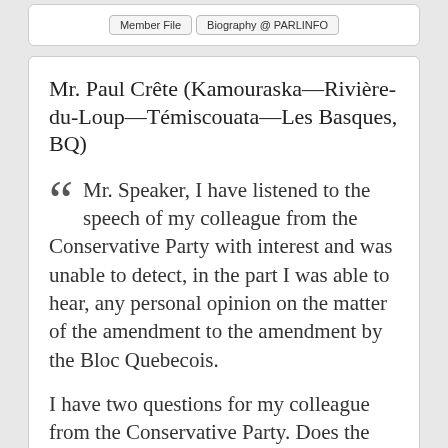Member File | Biography @ PARLINFO
Mr. Paul Crête (Kamouraska—Rivière-du-Loup—Témiscouata—Les Basques, BQ)
Mr. Speaker, I have listened to the speech of my colleague from the Conservative Party with interest and was unable to detect, in the part I was able to hear, any personal opinion on the matter of the amendment to the amendment by the Bloc Quebecois.
I have two questions for my colleague from the Conservative Party. Does the hon. member acknowledges that the